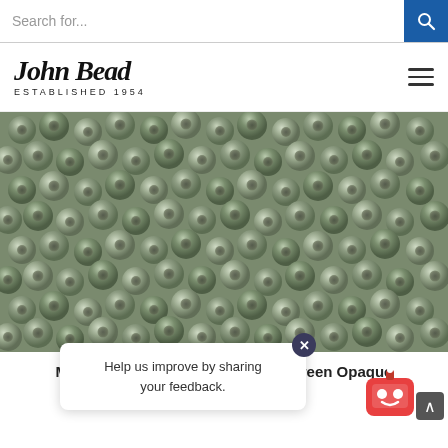Search for...
[Figure (logo): John Bead logo with cursive script 'John Bead' and text 'ESTABLISHED 1954']
[Figure (photo): Close-up photo of Miyuki seed beads in dark sea green opaque color, small round beads filling the entire frame]
Miyuki Seed Bead 11/0 Dark Sea Green Opaque
695SB11O-2375V
Help us improve by sharing your feedback.